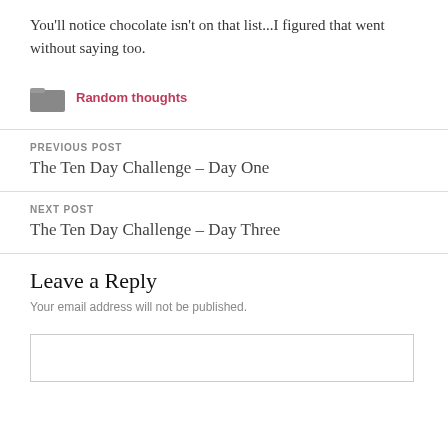You'll notice chocolate isn't on that list...I figured that went without saying too.
Random thoughts
PREVIOUS POST
The Ten Day Challenge – Day One
NEXT POST
The Ten Day Challenge – Day Three
Leave a Reply
Your email address will not be published.